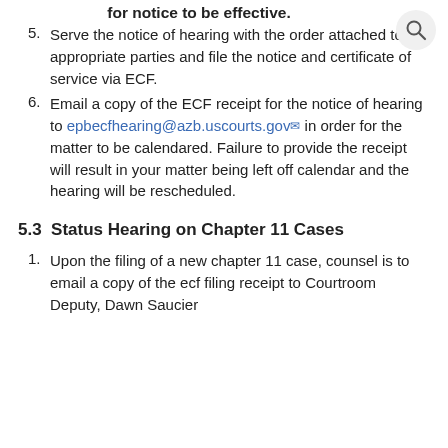for notice to be effective.
5. Serve the notice of hearing with the order attached to the appropriate parties and file the notice and certificate of service via ECF.
6. Email a copy of the ECF receipt for the notice of hearing to epbecfhearing@azb.uscourts.gov in order for the matter to be calendared. Failure to provide the receipt will result in your matter being left off calendar and the hearing will be rescheduled.
5.3  Status Hearing on Chapter 11 Cases
1. Upon the filing of a new chapter 11 case, counsel is to email a copy of the ecf filing receipt to Courtroom Deputy, Dawn Saucier